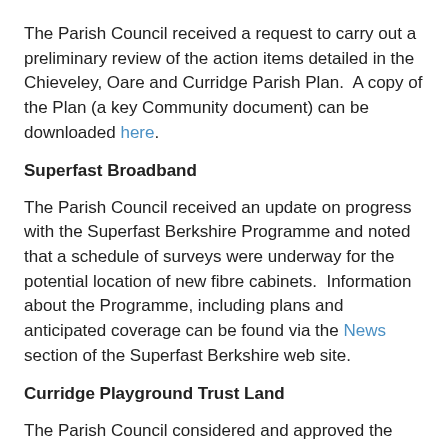The Parish Council received a request to carry out a preliminary review of the action items detailed in the Chieveley, Oare and Curridge Parish Plan.  A copy of the Plan (a key Community document) can be downloaded here.
Superfast Broadband
The Parish Council received an update on progress with the Superfast Berkshire Programme and noted that a schedule of surveys were underway for the potential location of new fibre cabinets.  Information about the Programme, including plans and anticipated coverage can be found via the News section of the Superfast Berkshire web site.
Curridge Playground Trust Land
The Parish Council considered and approved the nomination of a new Trustee (Mr Hanrahan) to the Charity.
Spotlight… on speed limit reviews